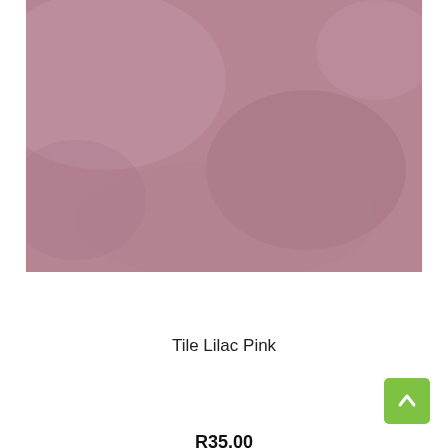[Figure (photo): A lilac pink tile surface with a matte, slightly textured appearance in dusty rose/mauve color.]
Ordered On Request
Tile Lilac Pink
R35.00